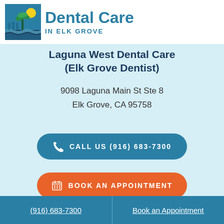[Figure (logo): Dental Care in Elk Grove logo with palm tree and waves icon, teal color scheme]
Laguna West Dental Care
(Elk Grove Dentist)
9098 Laguna Main St Ste 8
Elk Grove, CA 95758
CALL US (916) 683-7300
BOOK AN APPOINTMENT
[Figure (logo): Facebook and Yelp social media icons]
(916) 683-7300    Book an Appointment